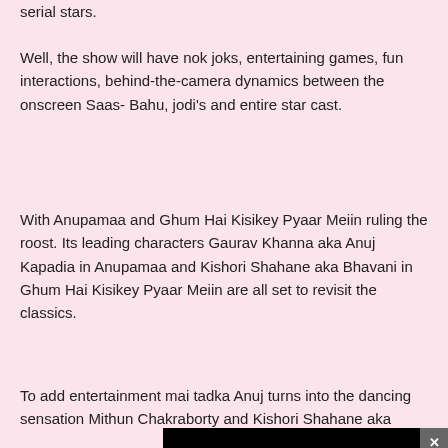serial stars.
Well, the show will have nok joks, entertaining games, fun interactions, behind-the-camera dynamics between the onscreen Saas- Bahu, jodi's and entire star cast.
With Anupamaa and Ghum Hai Kisikey Pyaar Meiin ruling the roost. Its leading characters Gaurav Khanna aka Anuj Kapadia in Anupamaa and Kishori Shahane aka Bhavani in Ghum Hai Kisikey Pyaar Meiin are all set to revisit the classics.
To add entertainment mai tadka Anuj turns into the dancing sensation Mithun Chakraborty and Kishori Shahane aka Bollywood's d
Both these a donning their 'I am a Disco making sure their fans are
[Figure (screenshot): Video player overlay with black background, red play button logo in top-left corner, and a circular play button in the center. An X close button is in the top-right corner.]